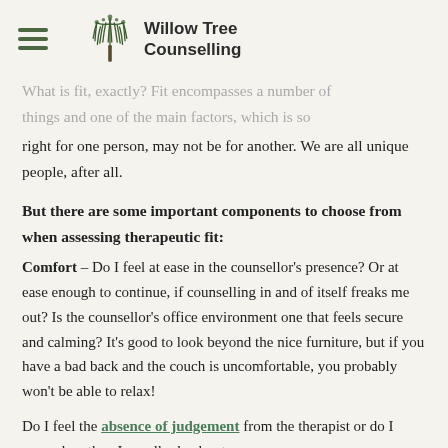Willow Tree Counselling
What is fit, exactly? Fit encompasses a number of things and one of the main factors, which is so right for one person, may not be for another. We are all unique people, after all.
But there are some important components to choose from when assessing therapeutic fit:
Comfort – Do I feel at ease in the counsellor's presence?  Or at ease enough to continue, if counselling in and of itself freaks me out? Is the counsellor's office environment one that feels secure and calming?  It's good to look beyond the nice furniture, but if you have a bad back and the couch is uncomfortable, you probably won't be able to relax!
Do I feel the absence of judgement from the therapist or do I worry less than I usually do about